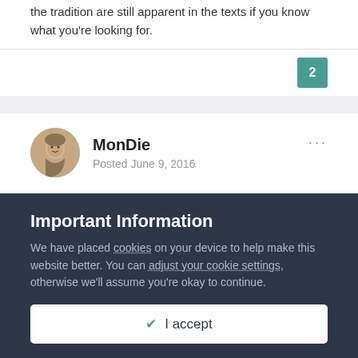the tradition are still apparent in the texts if you know what you're looking for.
2
MonDie
Posted June 9, 2016
I've wondered whether the angels make Christianity polytheistic in all but name.
Important Information
We have placed cookies on your device to help make this website better. You can adjust your cookie settings, otherwise we'll assume you're okay to continue.
✔  I accept